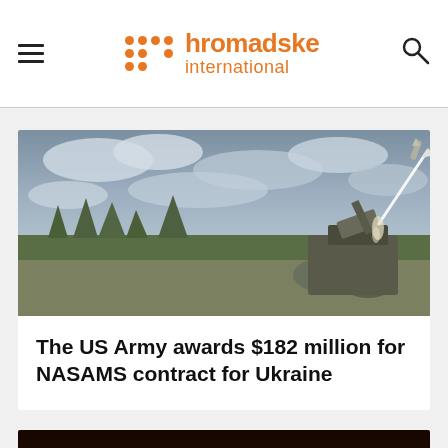hromadske international
[Figure (photo): A NASAMS missile launcher firing a missile into a cloudy sky, with trees in the background]
The US Army awards $182 million for NASAMS contract for Ukraine
[Figure (photo): Silhouette of figures against a bright orange sunset sky]